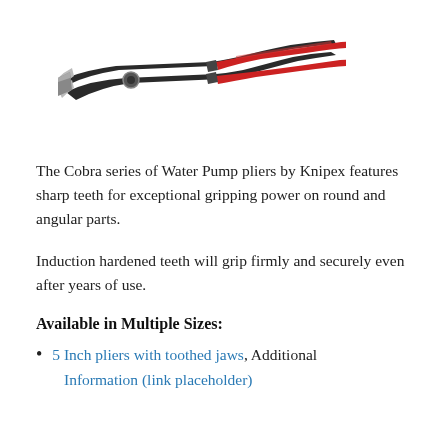[Figure (photo): Knipex Cobra series water pump pliers with black body and red handles, viewed from the side at a slight angle]
The Cobra series of Water Pump pliers by Knipex features sharp teeth for exceptional gripping power on round and angular parts.
Induction hardened teeth will grip firmly and securely even after years of use.
Available in Multiple Sizes:
5 Inch pliers with toothed jaws, Additional
Information (link placeholder)